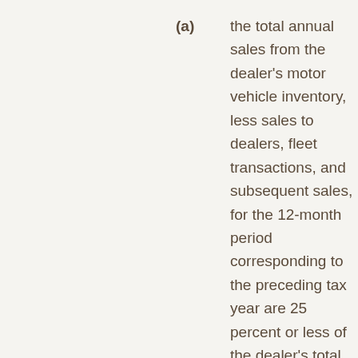(a) the total annual sales from the dealer's motor vehicle inventory, less sales to dealers, fleet transactions, and subsequent sales, for the 12-month period corresponding to the preceding tax year are 25 percent or less of the dealer's total revenue from all